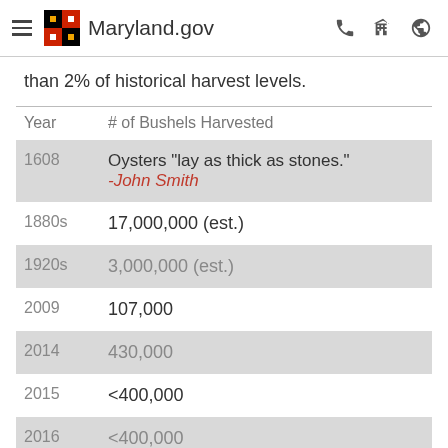Maryland.gov
than 2% of historical harvest levels.
| Year | # of Bushels Harvested |
| --- | --- |
| 1608 | Oysters "lay as thick as stones." -John Smith |
| 1880s | 17,000,000 (est.) |
| 1920s | 3,000,000 (est.) |
| 2009 | 107,000 |
| 2014 | 430,000 |
| 2015 | <400,000 |
| 2016 | <400,000 |